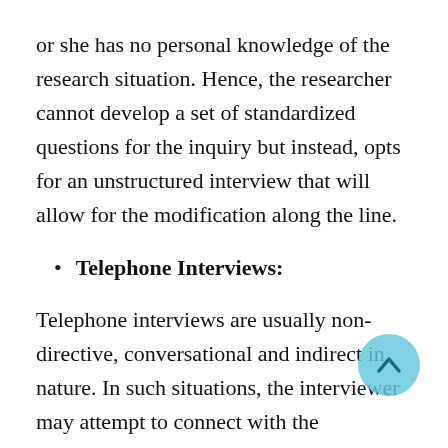or she has no personal knowledge of the research situation. Hence, the researcher cannot develop a set of standardized questions for the inquiry but instead, opts for an unstructured interview that will allow for the modification along the line.
Telephone Interviews:
Telephone interviews are usually non-directive, conversational and indirect in nature. In such situations, the interviewer may attempt to connect with the personality of the respondent while trying to gather information on the important issues in the research context.